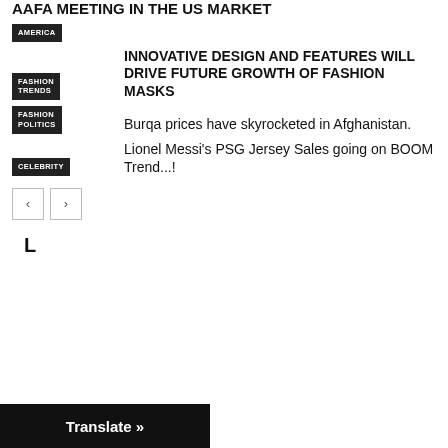AAFA meeting in the US market
AMERICA
INNOVATIVE DESIGN AND FEATURES WILL DRIVE FUTURE GROWTH OF FASHION MASKS
FASHION TRENDS
Burqa prices have skyrocketed in Afghanistan.
FASHION POLITICS
Lionel Messi's PSG Jersey Sales going on BOOM Trend...!
CELEBRITY
L
Translate »